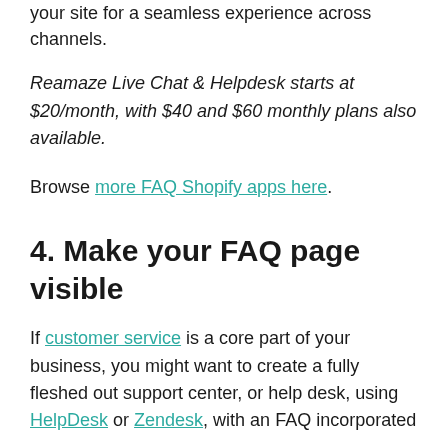your site for a seamless experience across channels.
Reamaze Live Chat & Helpdesk starts at $20/month, with $40 and $60 monthly plans also available.
Browse more FAQ Shopify apps here.
4. Make your FAQ page visible
If customer service is a core part of your business, you might want to create a fully fleshed out support center, or help desk, using HelpDesk or Zendesk, with an FAQ incorporated